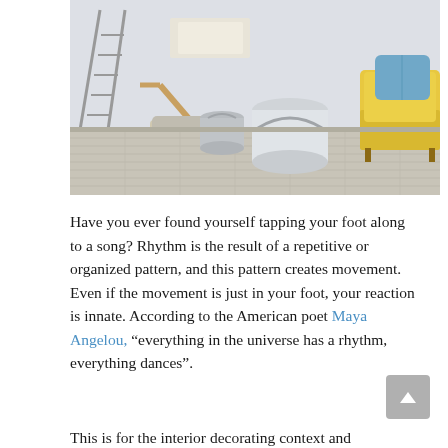[Figure (photo): Interior room scene with paint cans and a paint roller on a light wood floor, a ladder on the left, and a yellow sofa with a blue pillow on the right. White walls in the background with rolled paper/plans.]
Have you ever found yourself tapping your foot along to a song? Rhythm is the result of a repetitive or organized pattern, and this pattern creates movement. Even if the movement is just in your foot, your reaction is innate. According to the American poet Maya Angelou, “everything in the universe has a rhythm, everything dances”.
This is for the interior decorating context...